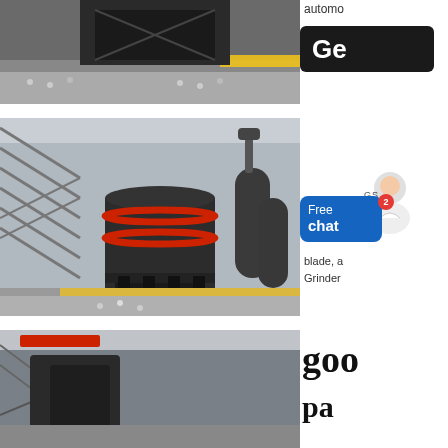[Figure (photo): Industrial grinding mill equipment photographed from above, showing conveyor and heavy machinery parts on a factory floor with white pellets/media visible]
[Figure (photo): Large industrial Raymond/vertical grinding mill machine with cylindrical dark body, red accent rings, mounted on heavy base frame inside a large industrial facility. Additional cyclone separator units visible in background.]
[Figure (photo): Partial view of industrial grinding mill equipment interior of large factory hall, red structural elements visible]
automo
Ge
Free chat 2
blade, a
Grinder
goo
pa